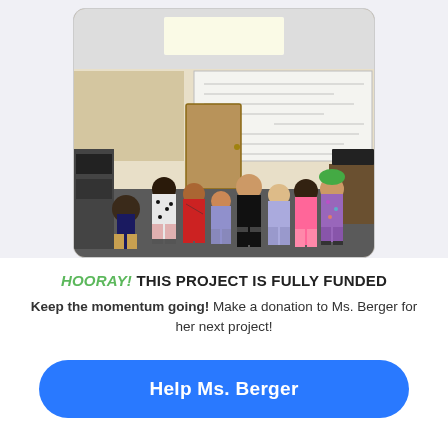[Figure (photo): A classroom photo showing a teacher and group of students in pajamas, standing and posing together in front of a whiteboard with writing on it.]
HOORAY! THIS PROJECT IS FULLY FUNDED
Keep the momentum going! Make a donation to Ms. Berger for her next project!
Help Ms. Berger